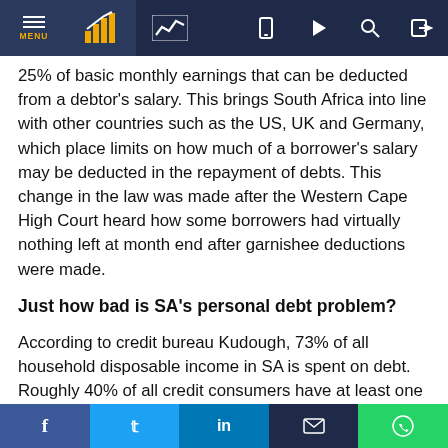Navigation bar with MENU, chart icons, and utility icons
25% of basic monthly earnings that can be deducted from a debtor's salary. This brings South Africa into line with other countries such as the US, UK and Germany, which place limits on how much of a borrower's salary may be deducted in the repayment of debts. This change in the law was made after the Western Cape High Court heard how some borrowers had virtually nothing left at month end after garnishee deductions were made.
Just how bad is SA's personal debt problem?
According to credit bureau Kudough, 73% of all household disposable income in SA is spent on debt. Roughly 40% of all credit consumers have at least one account overdue, and 58% of consumers struggle to meet their monthly
Social share bar: Facebook, Twitter, LinkedIn, Email, WhatsApp